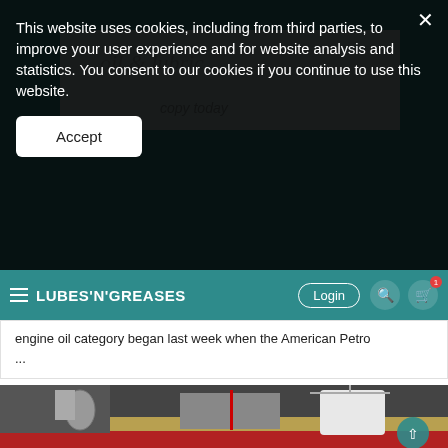This website uses cookies, including from third parties, to improve your user experience and for website analysis and statistics. You consent to our cookies if you continue to use this website.
Accept
LUBES'N'GREASES
engine oil category began last week when the American Petro ...
[Figure (photo): Laboratory equipment showing lubrication testing apparatus on a red base with metallic components, tubing, and a cylindrical container]